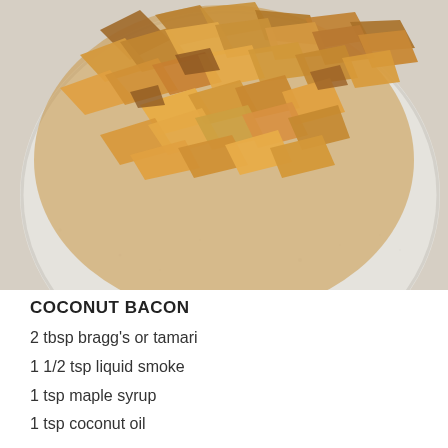[Figure (photo): Overhead photo of toasted coconut flakes/chips on a round glass or ceramic plate, viewed from above. The coconut pieces are golden brown, arranged in a pile on the plate, which sits on a light gray speckled stone or concrete surface.]
COCONUT BACON
2 tbsp bragg's or tamari
1 1/2 tsp liquid smoke
1 tsp maple syrup
1 tsp coconut oil